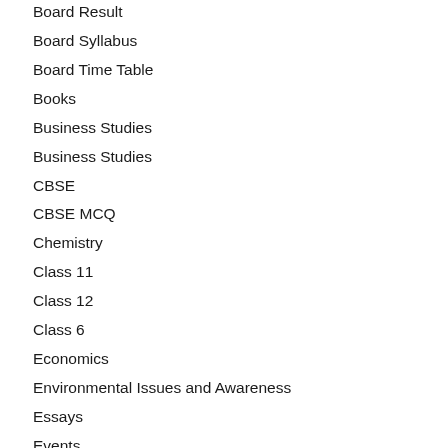Board Result
Board Syllabus
Board Time Table
Books
Business Studies
Business Studies
CBSE
CBSE MCQ
Chemistry
Class 11
Class 12
Class 6
Economics
Environmental Issues and Awareness
Essays
Events